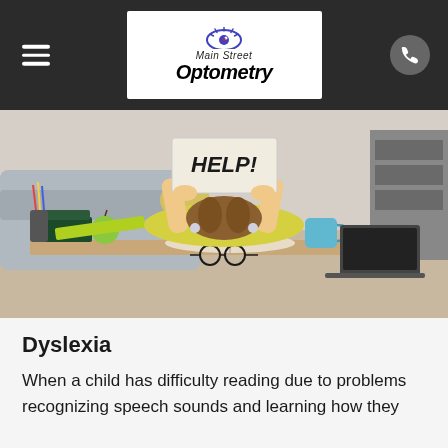Main Street Optometry
[Figure (photo): Child lying face-down on a desk holding up a sign reading HELP!, with books, glasses, an apple, pencils, and a laptop visible on the desk]
Dyslexia
When a child has difficulty reading due to problems recognizing speech sounds and learning how they